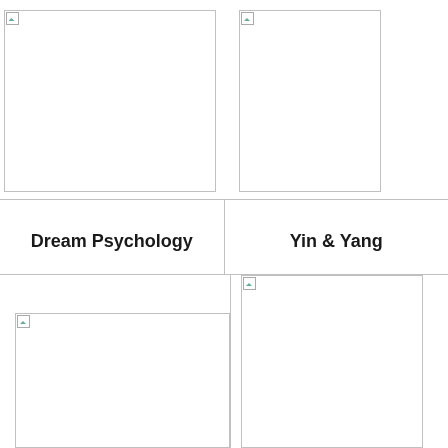[Figure (photo): Book cover image placeholder (broken image) for Dream Psychology, top left]
[Figure (photo): Book cover image placeholder (broken image) for Yin & Yang, top right]
Dream Psychology
Yin & Yang
[Figure (photo): Book cover image placeholder (broken image) for bottom left title]
[Figure (photo): Book cover image placeholder (broken image) for bottom right title]